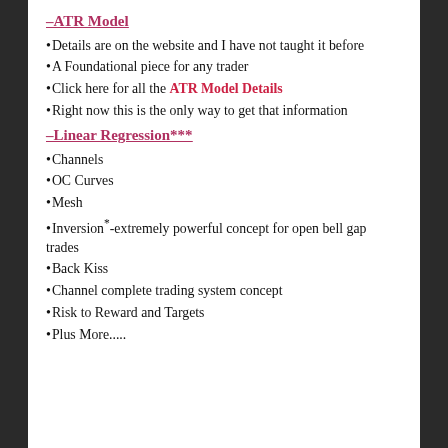–ATR Model
Details are on the website and I have not taught it before
A Foundational piece for any trader
Click here for all the ATR Model Details
Right now this is the only way to get that information
–Linear Regression***
Channels
OC Curves
Mesh
Inversion*-extremely powerful concept for open bell gap trades
Back Kiss
Channel complete trading system concept
Risk to Reward and Targets
Plus More.....